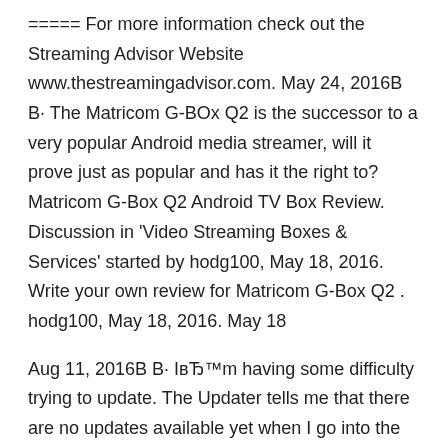===== For more information check out the Streaming Advisor Website www.thestreamingadvisor.com. May 24, 2016В В· The Matricom G-BOx Q2 is the successor to a very popular Android media streamer, will it prove just as popular and has it the right to? Matricom G-Box Q2 Android TV Box Review. Discussion in 'Video Streaming Boxes & Services' started by hodg100, May 18, 2016. Write your own review for Matricom G-Box Q2 . hodg100, May 18, 2016. May 18
Aug 11, 2016В В· IвЂ™m having some difficulty trying to update. The Updater tells me that there are no updates available yet when I go into the About G-Box section it tells me that the model # is G-Box Q, Android version is 4.4.2. Firmware is 1.4.0 and Kernel version is 3.10.33. Matricom G-Box Q2 Android TV Box Review The Matricom G-BOX Q2 is the successor to a very popular Android media streamer, will it prove just as popular and has it the right to? Written by: Mark